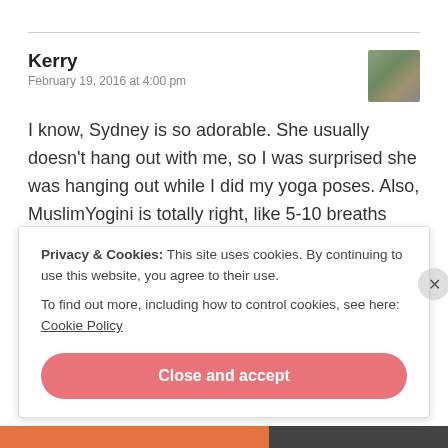Kerry
February 19, 2016 at 4:00 pm
[Figure (photo): Small avatar photo of a person outdoors]
I know, Sydney is so adorable. She usually doesn't hang out with me, so I was surprised she was hanging out while I did my yoga poses. Also, MuslimYogini is totally right, like 5-10 breaths (nice slow breaths).
Like
Privacy & Cookies: This site uses cookies. By continuing to use this website, you agree to their use.
To find out more, including how to control cookies, see here: Cookie Policy
Close and accept